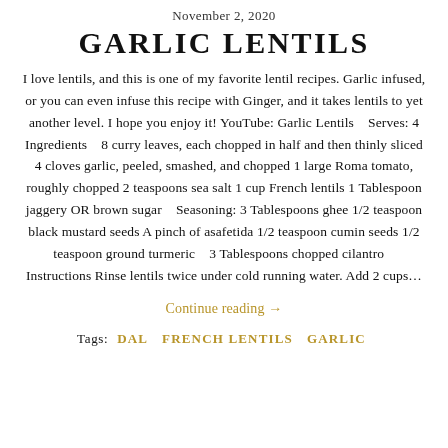November 2, 2020
GARLIC LENTILS
I love lentils, and this is one of my favorite lentil recipes. Garlic infused, or you can even infuse this recipe with Ginger, and it takes lentils to yet another level. I hope you enjoy it! YouTube: Garlic Lentils   Serves: 4 Ingredients   8 curry leaves, each chopped in half and then thinly sliced 4 cloves garlic, peeled, smashed, and chopped 1 large Roma tomato, roughly chopped 2 teaspoons sea salt 1 cup French lentils 1 Tablespoon jaggery OR brown sugar   Seasoning: 3 Tablespoons ghee 1/2 teaspoon black mustard seeds A pinch of asafetida 1/2 teaspoon cumin seeds 1/2 teaspoon ground turmeric   3 Tablespoons chopped cilantro   Instructions Rinse lentils twice under cold running water. Add 2 cups…
Continue reading →
Tags: DAL   FRENCH LENTILS   GARLIC